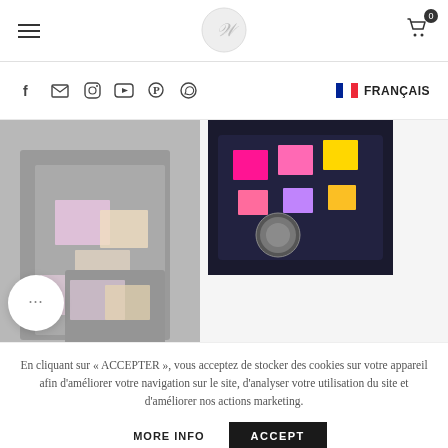Navigation header with hamburger menu, logo, and cart icon (0 items)
[Figure (screenshot): Navigation bar with social media icons (Facebook, email, Instagram, YouTube, Pinterest, WhatsApp) and FRANÇAIS language selector with French flag]
[Figure (photo): Two product photos: left shows gray cards/swatches with pastel pink and beige color patches; right shows dark makeup palette with bright pink and gold shades and a round mirror compact]
En cliquant sur « ACCEPTER », vous acceptez de stocker des cookies sur votre appareil afin d'améliorer votre navigation sur le site, d'analyser votre utilisation du site et d'améliorer nos actions marketing.
MORE INFO | ACCEPT